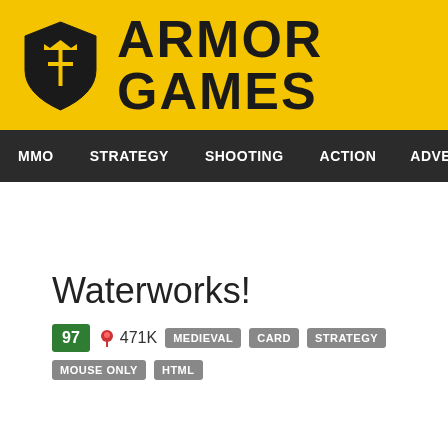ARMOR GAMES
MMO  STRATEGY  SHOOTING  ACTION  ADVENTURE  P
Waterworks!
97  471K  MEDIEVAL  CARD  STRATEGY  MOUSE ONLY  HTML